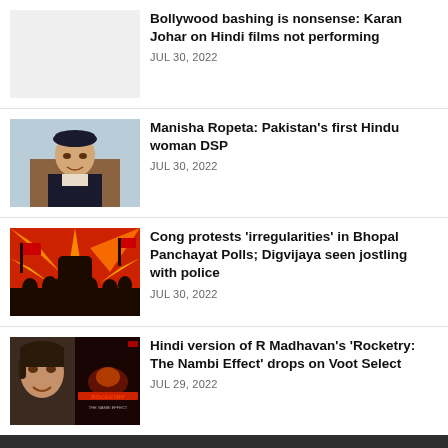[Figure (photo): Light gray placeholder image for Bollywood bashing article]
Bollywood bashing is nonsense: Karan Johar on Hindi films not performing
JUL 30, 2022
[Figure (photo): Photo of Manisha Ropeta in police uniform with black beret]
Manisha Ropeta: Pakistan's first Hindu woman DSP
JUL 30, 2022
[Figure (photo): Illustration of protest with raised fist and crowd silhouettes in red and orange]
Cong protests 'irregularities' in Bhopal Panchayat Polls; Digvijaya seen jostling with police
JUL 30, 2022
[Figure (photo): Photo of R Madhavan alongside Rocketry: The Nambi Effect movie poster]
Hindi version of R Madhavan's 'Rocketry: The Nambi Effect' drops on Voot Select
JUL 29, 2022
Copyright ©.
All rights reserved. Created by Readwhere CMS